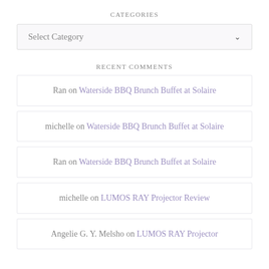CATEGORIES
Select Category
RECENT COMMENTS
Ran on Waterside BBQ Brunch Buffet at Solaire
michelle on Waterside BBQ Brunch Buffet at Solaire
Ran on Waterside BBQ Brunch Buffet at Solaire
michelle on LUMOS RAY Projector Review
Angelie G. Y. Melsho on LUMOS RAY Projector